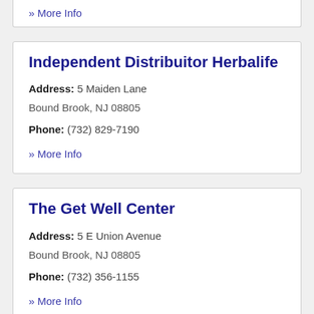» More Info
Independent Distribuitor Herbalife
Address: 5 Maiden Lane
Bound Brook, NJ 08805
Phone: (732) 829-7190
» More Info
The Get Well Center
Address: 5 E Union Avenue
Bound Brook, NJ 08805
Phone: (732) 356-1155
» More Info